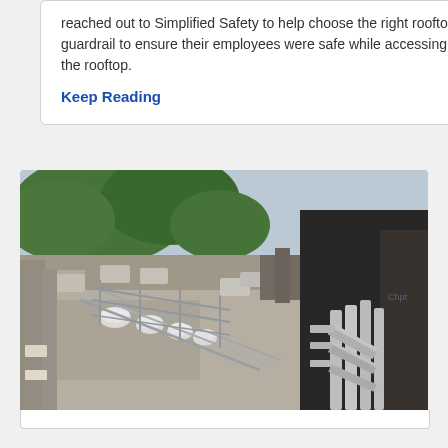reached out to Simplified Safety to help choose the right rooftop guardrail to ensure their employees were safe while accessing the rooftop.
Keep Reading
[Figure (photo): Aerial rooftop view showing rooftop equipment including HVAC units, dome skylights, guardrails, and metal pipes/conduits, with trees and sky visible in the background and a dark brick building on the right side.]